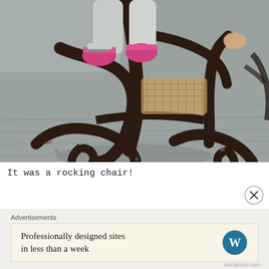[Figure (photo): Close-up photo of a dark bentwood rocking chair with ornate curved scrollwork base. A child wearing pink and grey sneakers is visible sitting in the chair. The chair sits on a grey wood-plank floor. Another chair is partially visible in the background.]
It was a rocking chair!
Advertisements
Professionally designed sites in less than a week